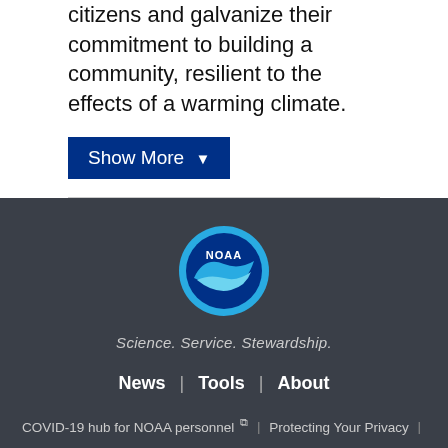citizens and galvanize their commitment to building a community, resilient to the effects of a warming climate.
Show More ▼
[Figure (logo): NOAA circular logo with blue and teal coloring, depicting a stylized bird/wave and text 'NOAA']
Science. Service. Stewardship.
News | Tools | About
COVID-19 hub for NOAA personnel ↗ | Protecting Your Privacy | FOIA | Information Quality | Accessibility | Guidance | Budget & Performance | Disclaimer | EEO | No Fear Act | USA.gov